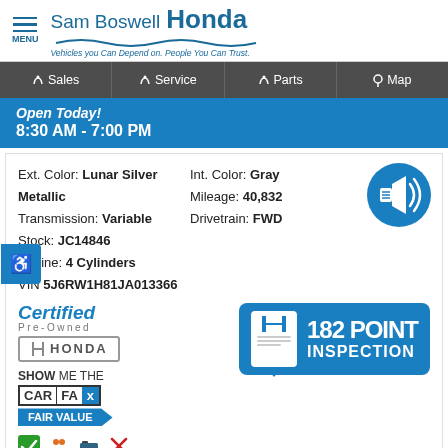Sam Boswell Honda — Vehicles you Can Depend on. People You Can Trust.
Sales | Service | Parts | Map
Open Today! 8:30 AM - 7:00 PM
Ext. Color: Lunar Silver Metallic | Int. Color: Gray | Transmission: Variable | Mileage: 40,832 | Stock: JC14846 | Drivetrain: FWD | Engine: 4 Cylinders | VIN 5J6RW1H81JA013366
[Figure (logo): Certified Pre-Owned Honda logo, CARFAX Show Me The Car Fair Value badge, 182 Point Inspection badge, and small icon row]